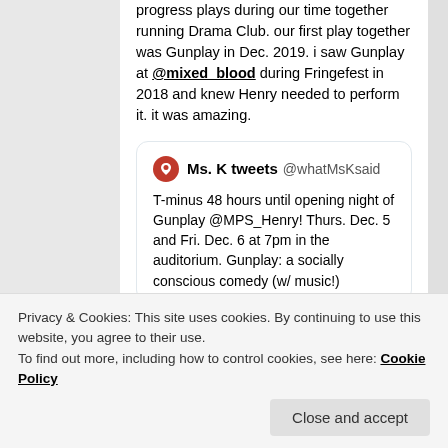progress plays during our time together running Drama Club. our first play together was Gunplay in Dec. 2019. i saw Gunplay at @mixed_blood during Fringefest in 2018 and knew Henry needed to perform it. it was amazing.
Ms. K tweets @whatMsKsaid — T-minus 48 hours until opening night of Gunplay @MPS_Henry! Thurs. Dec. 5 and Fri. Dec. 6 at 7pm in the auditorium. Gunplay: a socially conscious comedy (w/ music!)
[Figure (photo): A photo of students on a stage, likely a drama club performance with several people visible and a light stand on the right side]
Privacy & Cookies: This site uses cookies. By continuing to use this website, you agree to their use. To find out more, including how to control cookies, see here: Cookie Policy